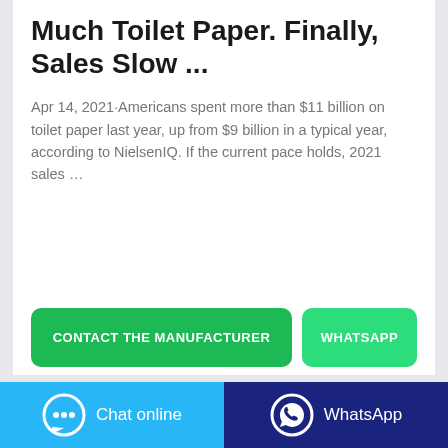Much Toilet Paper. Finally, Sales Slow ...
Apr 14, 2021·Americans spent more than $11 billion on toilet paper last year, up from $9 billion in a typical year, according to NielsenIQ. If the current pace holds, 2021 sales …
CONTACT THE MANUFACTURER
WHATSAPP
Chat online
WhatsApp